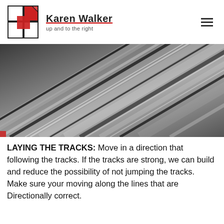[Figure (logo): Karen Walker logo: a grid of four squares, top-right square filled red with a folded corner effect, black outlines. Brand name 'Karen Walker' in bold with red underline, tagline 'up and to the right' below.]
[Figure (photo): Grayscale abstract photo of diagonal motion blur streaks, resembling train tracks or fast movement, dark and light alternating bands running diagonally from lower-left to upper-right.]
LAYING THE TRACKS: Move in a direction that following the tracks. If the tracks are strong, we can build and reduce the possibility of not jumping the tracks. Make sure your moving along the lines that are Directionally correct.